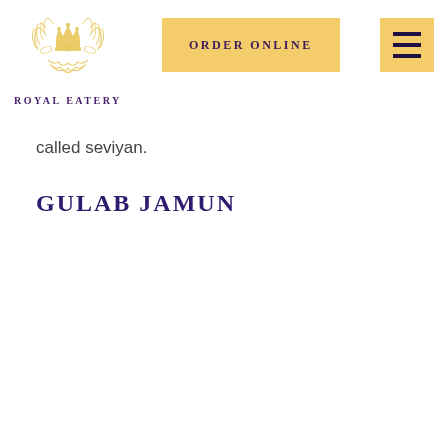[Figure (logo): Royal Eatery ornate gold emblem/crest with crown and decorative flourishes]
ROYAL EATERY
[Figure (other): ORDER ONLINE button with gold/yellow background]
[Figure (other): Hamburger menu icon with gold/yellow background and three dark horizontal lines]
called seviyan.
GULAB JAMUN